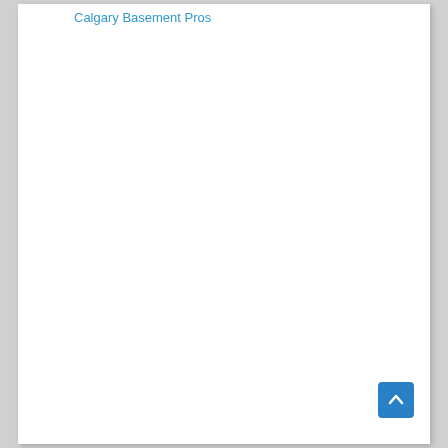Calgary Basement Pros
[Figure (other): Scroll-to-top button with upward chevron arrow, blue background, rounded corners, positioned at bottom-right of page]